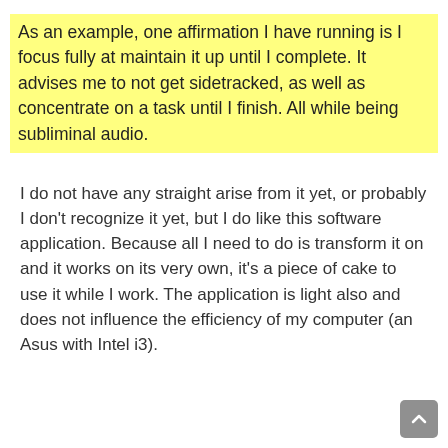As an example, one affirmation I have running is I focus fully at maintain it up until I complete. It advises me to not get sidetracked, as well as concentrate on a task until I finish. All while being subliminal audio.
I do not have any straight arise from it yet, or probably I don't recognize it yet, but I do like this software application. Because all I need to do is transform it on and it works on its very own, it's a piece of cake to use it while I work. The application is light also and does not influence the efficiency of my computer (an Asus with Intel i3).